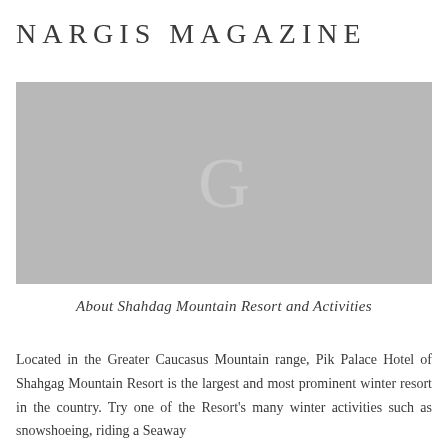NARGIS MAGAZINE
[Figure (photo): Gray placeholder image with a large 'G' letter watermark in the center, representing a photo of Shahdag Mountain Resort]
About Shahdag Mountain Resort and Activities
Located in the Greater Caucasus Mountain range, Pik Palace Hotel of Shahgag Mountain Resort is the largest and most prominent winter resort in the country. Try one of the Resort's many winter activities such as snowshoeing, riding a Seaway